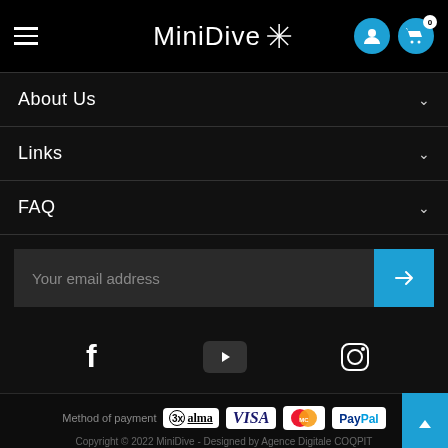MiniDive - navigation header with hamburger menu, logo, user icon, and cart icon (0 items)
About Us
Links
FAQ
Your email address
[Figure (infographic): Social media icons row: Facebook, YouTube, Instagram]
Method of payment: 3x alma VISA MasterCard PayPal | Copyright © 2022 MiniDive - Designed by Agence Digitale COQPIT